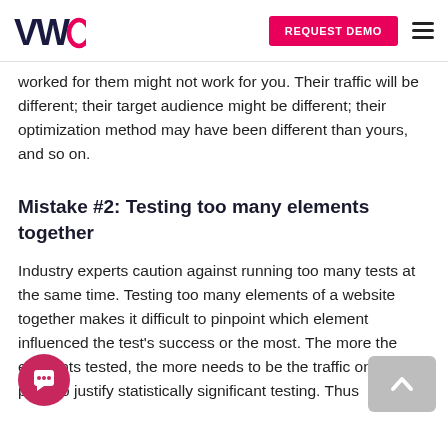VWO | REQUEST DEMO
worked for them might not work for you. Their traffic will be different; their target audience might be different; their optimization method may have been different than yours, and so on.
Mistake #2: Testing too many elements together
Industry experts caution against running too many tests at the same time. Testing too many elements of a website together makes it difficult to pinpoint which element influenced the test's success or the most. The more the elements tested, the more needs to be the traffic on that page to justify statistically significant testing. Thus